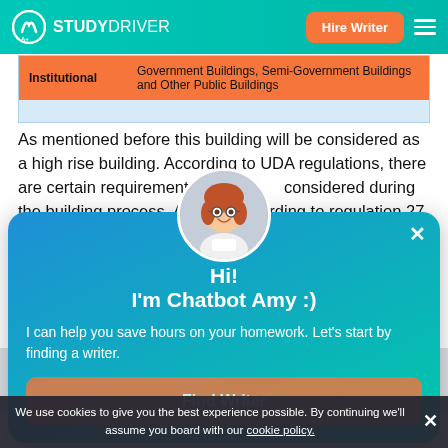STUDYDRIVER — Hire Writer
| Category | Description |
| --- | --- |
| Institutional | Government Buildings, Semi-Government Buildings and Other Public Buildings |
As mentioned before this building will be considered as a high rise building. According to UDA regulations, there are certain requirements need to be considered during the building process. As following according to regulation 27, from this regulation, information about what is the
[Figure (screenshot): Chatbot popup with avatar of woman with glasses. Title: Hi! I'm Chatbot Amy :). Text: I can help you save hours on your homework. Let's start by finding a writer. Button: Find Writer]
We use cookies to give you the best experience possible. By continuing we'll assume you board with our cookie policy.